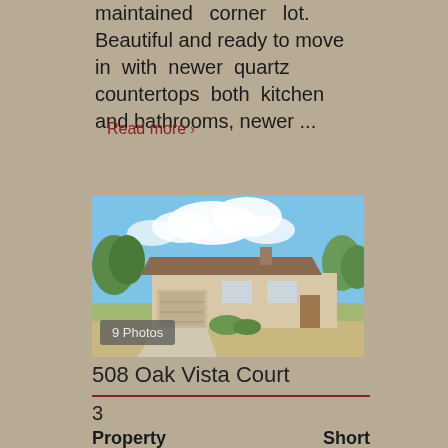maintained corner lot. Beautiful and ready to move in with newer quartz countertops both kitchen and bathrooms, newer ...
Read more ›
[Figure (photo): Exterior photo of a single-story ranch-style house with a tan/beige exterior, brown roof, chimney, attached garage, and green landscaping under a blue sky with white clouds. Shows '9 Photos' badge in lower left.]
9 Photos
508 Oak Vista Court
3
Property        Short